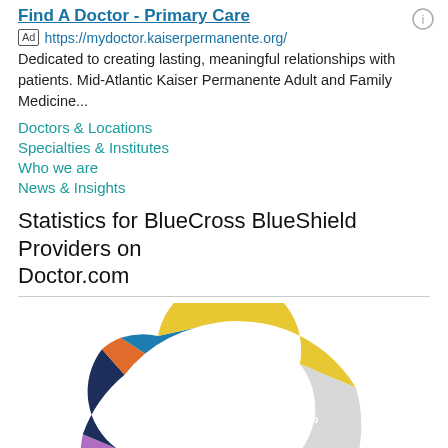Find A Doctor - Primary Care
Ad https://mydoctor.kaiserpermanente.org/
Dedicated to creating lasting, meaningful relationships with patients. Mid-Atlantic Kaiser Permanente Adult and Family Medicine...
Doctors & Locations
Specialties & Institutes
Who we are
News & Insights
Statistics for BlueCross BlueShield Providers on Doctor.com
[Figure (donut-chart): Statistics for BlueCross BlueShield Providers on Doctor.com]